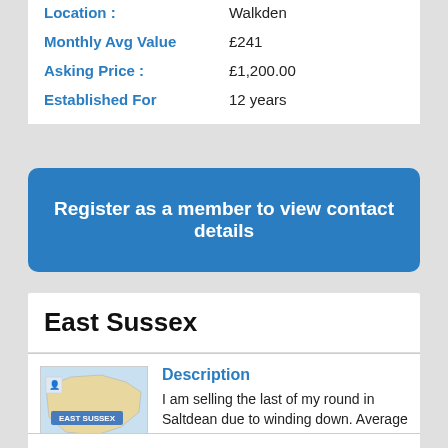Location: Walkden
Monthly Avg Value £241
Asking Price : £1,200.00
Established For 12 years
Register as a member to view contact details
East Sussex
Description
I am selling the last of my round in Saltdean due to winding down. Average hourly rate around £60ph. 27 jobs with an average of £17 per job Most pay cash and the rest transfer. (read more)